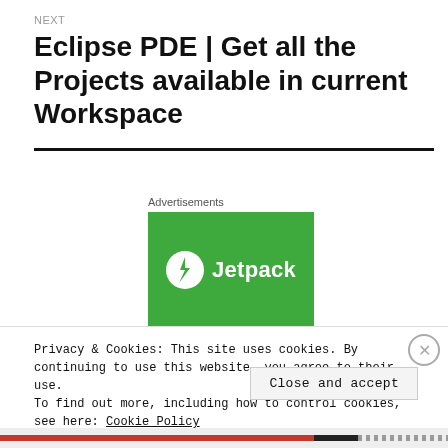NEXT
Eclipse PDE | Get all the Projects available in current Workspace
[Figure (illustration): Jetpack advertisement banner with green background, Jetpack logo (white circle with lightning bolt) and white text 'Jetpack']
Advertisements
Privacy & Cookies: This site uses cookies. By continuing to use this website, you agree to their use.
To find out more, including how to control cookies, see here: Cookie Policy
Close and accept